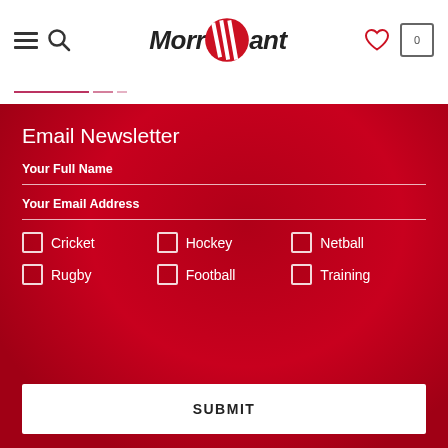[Figure (logo): Morrant sports brand logo with red circle and white diagonal stripes, italic bold text 'Morrant']
Email Newsletter
Your Full Name
Your Email Address
Cricket
Rugby
Hockey
Football
Netball
Training
SUBMIT